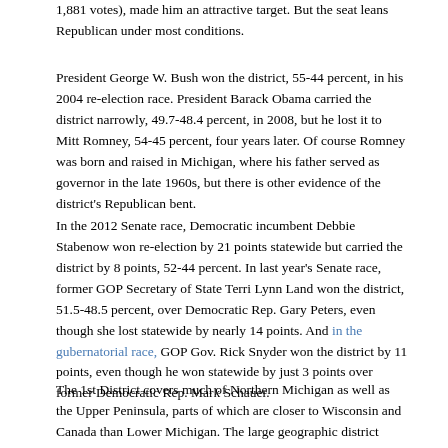1,881 votes), made him an attractive target. But the seat leans Republican under most conditions.
President George W. Bush won the district, 55-44 percent, in his 2004 re-election race. President Barack Obama carried the district narrowly, 49.7-48.4 percent, in 2008, but he lost it to Mitt Romney, 54-45 percent, four years later. Of course Romney was born and raised in Michigan, where his father served as governor in the late 1960s, but there is other evidence of the district's Republican bent.
In the 2012 Senate race, Democratic incumbent Debbie Stabenow won re-election by 21 points statewide but carried the district by 8 points, 52-44 percent. In last year's Senate race, former GOP Secretary of State Terri Lynn Land won the district, 51.5-48.5 percent, over Democratic Rep. Gary Peters, even though she lost statewide by nearly 14 points. And in the gubernatorial race, GOP Gov. Rick Snyder won the district by 11 points, even though he won statewide by just 3 points over former Democratic Rep. Mark Schauer.
The 1st District covers much of Northern Michigan as well as the Upper Peninsula, parts of which are closer to Wisconsin and Canada than Lower Michigan. The large geographic district includes lots of rural territory dotted with small population centers including Traverse City (population 15,000) in Lower Michigan and Marquette (21,000) in the UP.